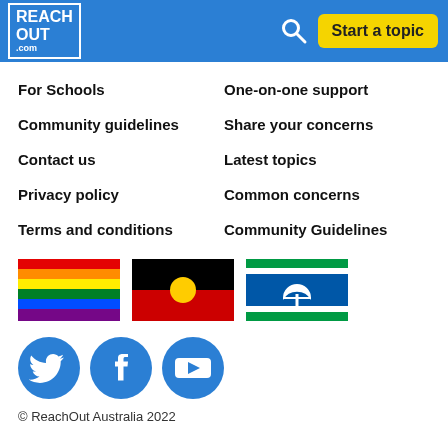REACHOUT.com — Start a topic
For Schools
One-on-one support
Community guidelines
Share your concerns
Contact us
Latest topics
Privacy policy
Common concerns
Terms and conditions
Community Guidelines
[Figure (illustration): Three flags: rainbow pride flag, Aboriginal Australian flag (black top/red bottom with yellow circle), Torres Strait Islander flag (blue with green stripes and white dome symbol)]
[Figure (illustration): Social media icons: Twitter (bird), Facebook (f), YouTube (play button) — all in blue circles]
© ReachOut Australia 2022